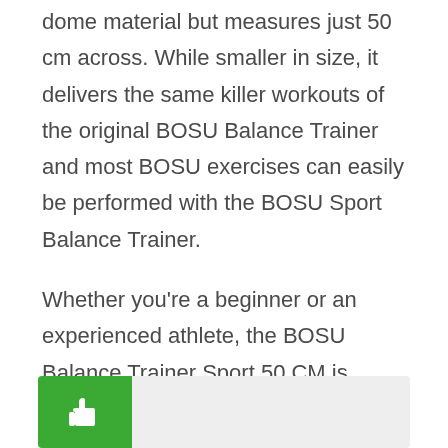dome material but measures just 50 cm across. While smaller in size, it delivers the same killer workouts of the original BOSU Balance Trainer and most BOSU exercises can easily be performed with the BOSU Sport Balance Trainer.
Whether you're a beginner or an experienced athlete, the BOSU Balance Trainer Sport 50 CM is versatile enough to provide a workout that is not only effective but also fun!
[Figure (illustration): Green thumbs-up icon button on left, gray bar on right — a promotional/recommendation widget at the bottom of the page]